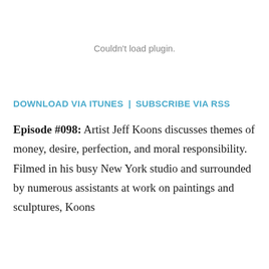[Figure (other): Plugin placeholder area showing 'Couldn't load plugin.' message]
DOWNLOAD VIA ITUNES | SUBSCRIBE VIA RSS
Episode #098: Artist Jeff Koons discusses themes of money, desire, perfection, and moral responsibility. Filmed in his busy New York studio and surrounded by numerous assistants at work on paintings and sculptures, Koons